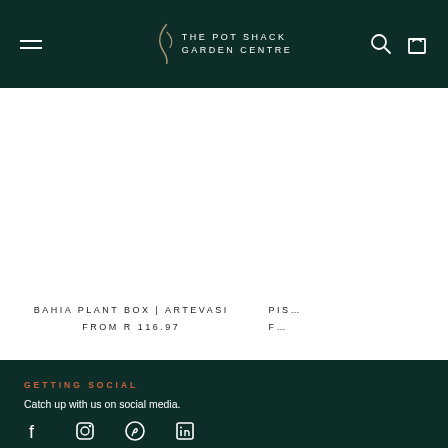The Pot Shack Garden Centre
BAHIA PLANT BOX | ARTEVASI
FROM R 116.97
PISA...
F...
GETTING SOCIAL
Catch up with us on social media.
Social media icons: Facebook, Instagram, Pinterest, LinkedIn